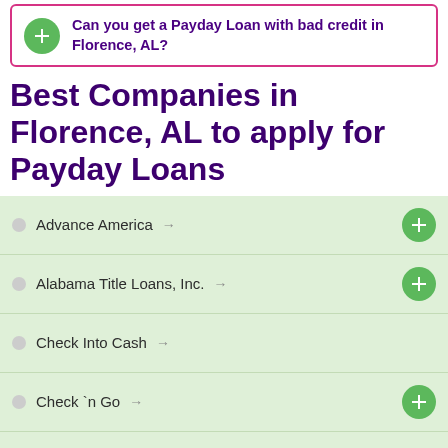Can you get a Payday Loan with bad credit in Florence, AL?
Best Companies in Florence, AL to apply for Payday Loans
Advance America →
Alabama Title Loans, Inc. →
Check Into Cash →
Check `n Go →
Title Cash →